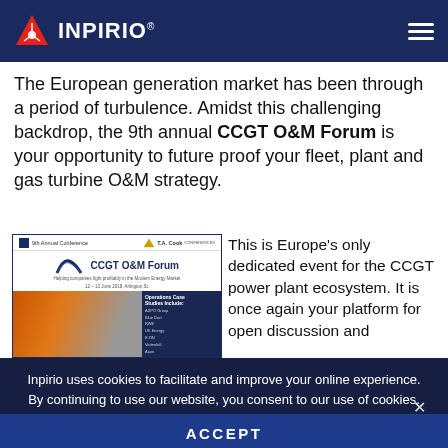INPIRIO
The European generation market has been through a period of turbulence. Amidst this challenging backdrop, the 9th annual CCGT O&M Forum is your opportunity to future proof your fleet, plant and gas turbine O&M strategy.
[Figure (screenshot): CCGT O&M Forum conference brochure card showing logo, title 'CCGT O&M Forum', subtitle 'Helping companies fight profitably in the Modern Energy Market', date '12 - 13 June 2018, Arlington St.', and a photo of a worker in orange safety gear working on industrial equipment with a list panel showing sponsor names on the right side.]
This is Europe's only dedicated event for the CCGT power plant ecosystem. It is once again your platform for open discussion and...
Inpirio uses cookies to facilitate and improve your online experience. By continuing to use our website, you consent to our use of cookies.
ACCEPT